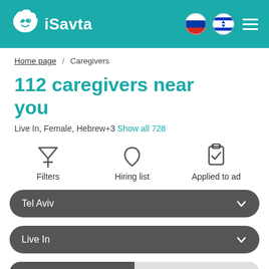iSavta
Home page / Caregivers
112 caregivers near you
Live In, Female, Hebrew+3 Show all 728
Filters | Hiring list | Applied to ad
Tel Aviv
Live In